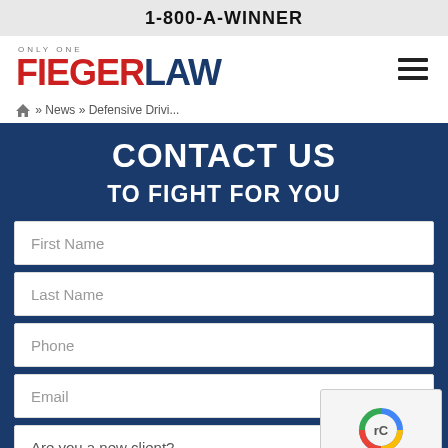1-800-A-WINNER
[Figure (logo): Fieger Law logo with 'ONLY ONE' above in small caps, 'FIEGER' in red bold and 'LAW' in dark blue bold]
» News » Defensive Drivi...
CONTACT US TO FIGHT FOR YOU
First Name
Last Name
Phone
Email
Are you a new client?